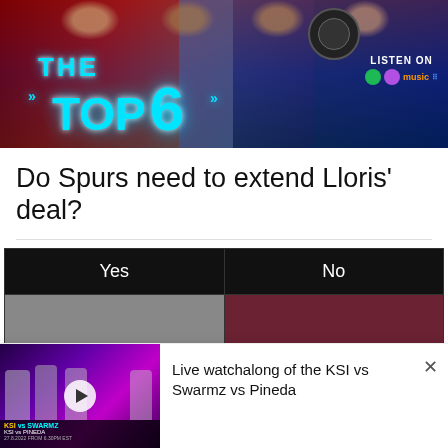[Figure (illustration): Promotional banner for 'The Top 6' podcast featuring Premier League football players in red and blue jerseys. Large cyan neon text reads 'THE TOP 6' with chevron arrows. A circular podcast logo appears top right. Bottom right shows 'LISTEN ON' with streaming service icons (Spotify, Apple Podcasts, Amazon Music, Google Podcasts).]
Do Spurs need to extend Lloris' deal?
| Yes | No |
| --- | --- |
|  |  |
[Figure (screenshot): Notification/overlay bar at the bottom showing a thumbnail for a live watchalong video of KSI vs Swarmz vs Pineda boxing event (27.8.2022). The thumbnail has purple/pink neon background with fighters visible. A play button circle is overlaid. Text reads: Live watchalong of the KSI vs Swarmz vs Pineda. A close (X) button appears top right.]